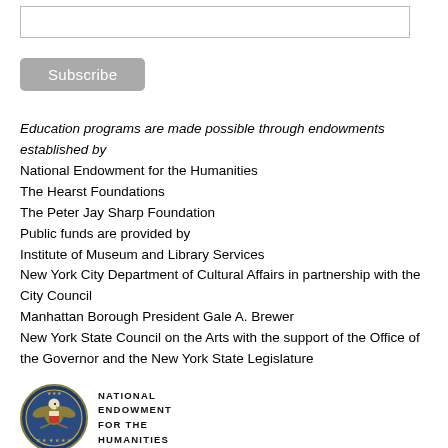[Figure (other): Empty text input box for subscription]
Subscribe
Education programs are made possible through endowments established by
National Endowment for the Humanities
The Hearst Foundations
The Peter Jay Sharp Foundation
Public funds are provided by
Institute of Museum and Library Services
New York City Department of Cultural Affairs in partnership with the City Council
Manhattan Borough President Gale A. Brewer
New York State Council on the Arts with the support of the Office of the Governor and the New York State Legislature
[Figure (logo): National Endowment for the Humanities seal/logo — circular blue and gold seal with eagle, text NATIONAL ENDOWMENT FOR THE HUMANITIES]